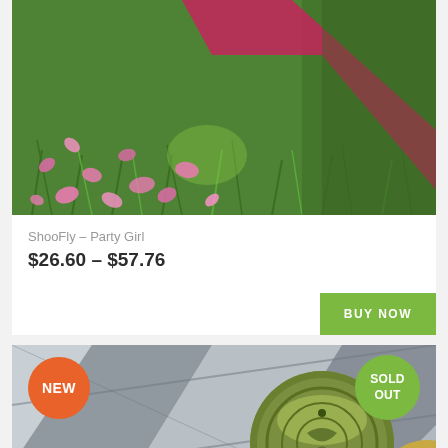[Figure (photo): Overhead photo of green grass with scattered pink flower petals and a diagonal dark pink/maroon sash or ribbon running across]
ShooFly – Party Girl
$26.60 – $57.76
BUY NOW
[Figure (photo): Product photo showing a green cylindrical device/container resting against striped wooden boards, with badges: NEW (orange circle, left) and SOLD OUT (green circle, right)]